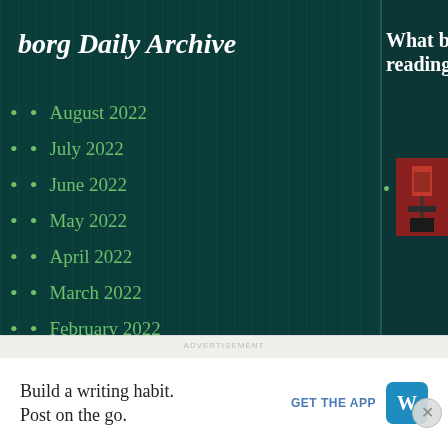borg Daily Archive
August 2022
July 2022
June 2022
May 2022
April 2022
March 2022
February 2022
January 2022
December 2021
November 2021
October 2021
What bor reading t
[Figure (photo): Book cover image 1 - man in red shirt figure]
Pa Ac kr th Sw
[Figure (photo): Book cover image 2 - Autopsy by Patricia Cornwell]
Pa Au Ja w nc
[Figure (photo): Book cover image 3 - partial view]
Build a writing habit. Post on the go.
GET THE APP